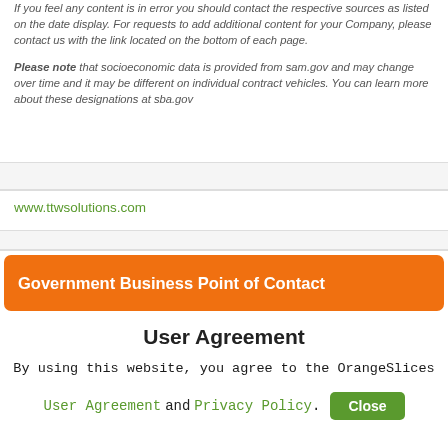If you feel any content is in error you should contact the respective sources as listed on the date display. For requests to add additional content for your Company, please contact us with the link located on the bottom of each page.
Please note that socioeconomic data is provided from sam.gov and may change over time and it may be different on individual contract vehicles. You can learn more about these designations at sba.gov
www.ttwsolutions.com
Government Business Point of Contact
User Agreement
By using this website, you agree to the OrangeSlices User Agreement and Privacy Policy.